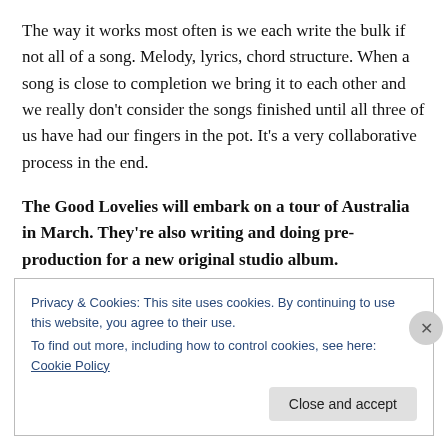The way it works most often is we each write the bulk if not all of a song. Melody, lyrics, chord structure. When a song is close to completion we bring it to each other and we really don't consider the songs finished until all three of us have had our fingers in the pot. It's a very collaborative process in the end.
The Good Lovelies will embark on a tour of Australia in March. They're also writing and doing pre-production for a new original studio album.
Privacy & Cookies: This site uses cookies. By continuing to use this website, you agree to their use. To find out more, including how to control cookies, see here: Cookie Policy